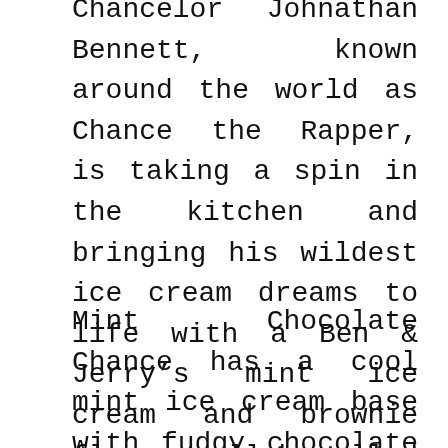Chancelor Johnathan Bennett, known around the world as Chance the Rapper, is taking a spin in the kitchen and bringing his wildest ice cream dreams to life with a Ben & Jerry's mint ice cream and brownie flavor collab called “Mint Chocolate Chance!”
Mint Chocolate Chance has a cool mint ice cream base with fudgy chocolate brownies made by our Open Hiring bakery staff at Greyston Bakery. It was inspired by Chance’s own favorite